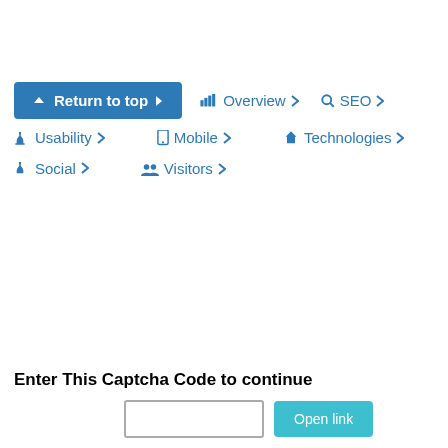Return to top
Overview
SEO
Usability
Mobile
Technologies
Social
Visitors
Enter This Captcha Code to continue